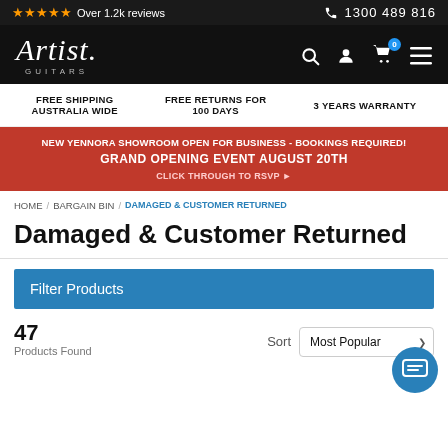★★★★★ Over 1.2k reviews   📞 1300 489 816
[Figure (logo): Artist Guitars logo in white italic script on black background with navigation icons (search, account, cart with badge 0, hamburger menu)]
FREE SHIPPING AUSTRALIA WIDE   FREE RETURNS FOR 100 DAYS   3 YEARS WARRANTY
NEW YENNORA SHOWROOM OPEN FOR BUSINESS - BOOKINGS REQUIRED! GRAND OPENING EVENT AUGUST 20TH CLICK THROUGH TO RSVP
HOME / BARGAIN BIN / DAMAGED & CUSTOMER RETURNED
Damaged & Customer Returned
Filter Products
47 Products Found   Sort   Most Popular